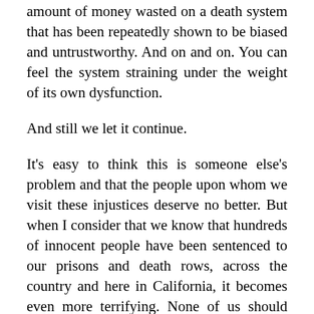amount of money wasted on a death system that has been repeatedly shown to be biased and untrustworthy. And on and on. You can feel the system straining under the weight of its own dysfunction.
And still we let it continue.
It's easy to think this is someone else's problem and that the people upon whom we visit these injustices deserve no better. But when I consider that we know that hundreds of innocent people have been sentenced to our prisons and death rows, across the country and here in California, it becomes even more terrifying. None of us should tolerate the possibility that the state might execute